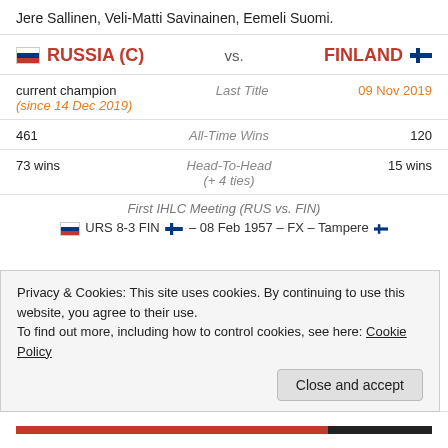Jere Sallinen, Veli-Matti Savinainen, Eemeli Suomi.
| RUSSIA (C) | vs. | FINLAND |
| --- | --- | --- |
| current champion (since 14 Dec 2019) | Last Title | 09 Nov 2019 |
| 461 | All-Time Wins | 120 |
| 73 wins | Head-To-Head (+ 4 ties) | 15 wins |
First IHLC Meeting (RUS vs. FIN)
URS 8-3 FIN – 08 Feb 1957 – FX – Tampere
Privacy & Cookies: This site uses cookies. By continuing to use this website, you agree to their use.
To find out more, including how to control cookies, see here: Cookie Policy
Close and accept